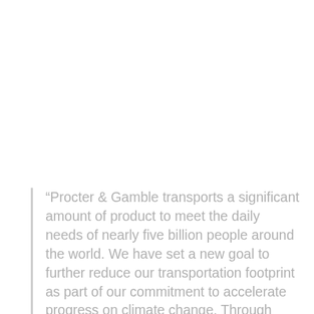“Procter & Gamble transports a significant amount of product to meet the daily needs of nearly five billion people around the world. We have set a new goal to further reduce our transportation footprint as part of our commitment to accelerate progress on climate change. Through cross-industry